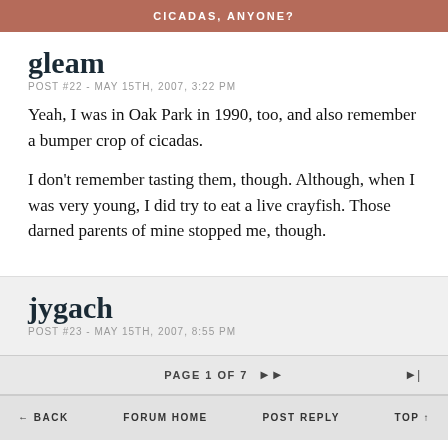CICADAS, ANYONE?
gleam
POST #22 - MAY 15TH, 2007, 3:22 PM
Yeah, I was in Oak Park in 1990, too, and also remember a bumper crop of cicadas.

I don't remember tasting them, though. Although, when I was very young, I did try to eat a live crayfish. Those darned parents of mine stopped me, though.
jygach
POST #23 - MAY 15TH, 2007, 8:55 PM
PAGE 1 OF 7   ▶▶   ▶|   ← BACK   FORUM HOME   POST REPLY   TOP ↑